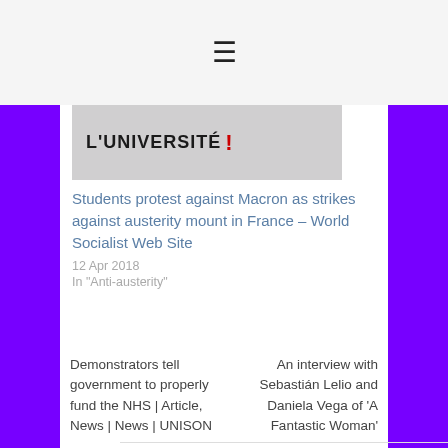[Figure (photo): Protest banner reading L'UNIVERSITE with red exclamation mark]
Students protest against Macron as strikes against austerity mount in France – World Socialist Web Site
12 Apr 2018
In "Anti-austerity"
Demonstrators tell government to properly fund the NHS | Article, News | News | UNISON
An interview with Sebastián Lelio and Daniela Vega of 'A Fantastic Woman'